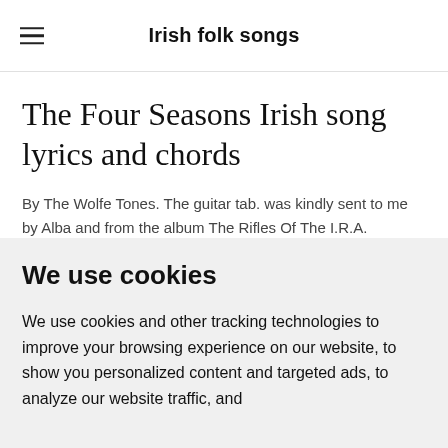Irish folk songs
The Four Seasons Irish song lyrics and chords
By The Wolfe Tones. The guitar tab. was kindly sent to me by Alba and from the album The Rifles Of The I.R.A.
We use cookies
We use cookies and other tracking technologies to improve your browsing experience on our website, to show you personalized content and targeted ads, to analyze our website traffic, and